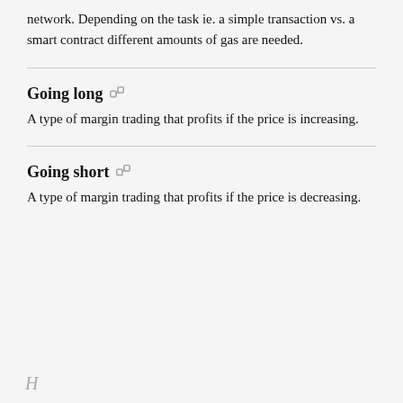network. Depending on the task ie. a simple transaction vs. a smart contract different amounts of gas are needed.
Going long
A type of margin trading that profits if the price is increasing.
Going short
A type of margin trading that profits if the price is decreasing.
H